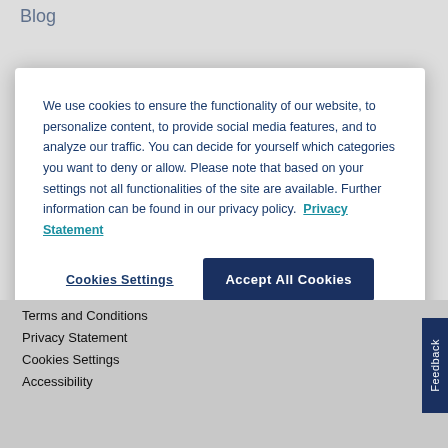Blog
We use cookies to ensure the functionality of our website, to personalize content, to provide social media features, and to analyze our traffic. You can decide for yourself which categories you want to deny or allow. Please note that based on your settings not all functionalities of the site are available. Further information can be found in our privacy policy.  Privacy Statement
Cookies Settings
Accept All Cookies
Terms and Conditions
Privacy Statement
Cookies Settings
Accessibility